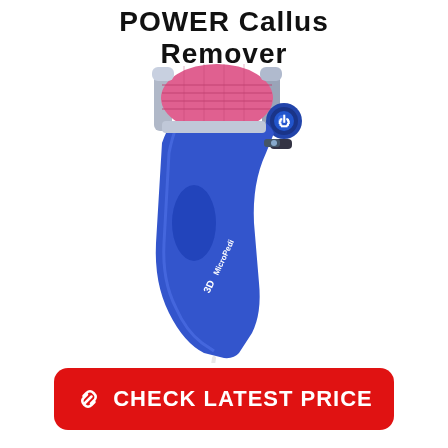POWER Callus Remover
[Figure (photo): Blue handheld electric callus remover device with pink roller head, silver accents, and a blue power button. Branded '3D MicroPedi' on the handle. White cord visible at the bottom.]
CHECK LATEST PRICE